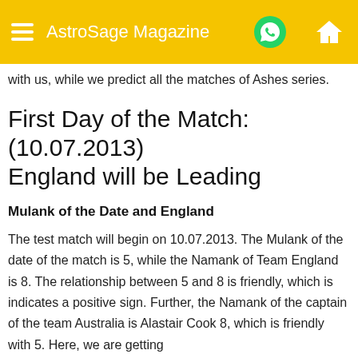AstroSage Magazine
with us, while we predict all the matches of Ashes series.
First Day of the Match: (10.07.2013) England will be Leading
Mulank of the Date and England
The test match will begin on 10.07.2013. The Mulank of the date of the match is 5, while the Namank of Team England is 8. The relationship between 5 and 8 is friendly, which is indicates a positive sign. Further, the Namank of the captain of the team Australia is Alastair Cook 8, which is friendly with 5. Here, we are getting